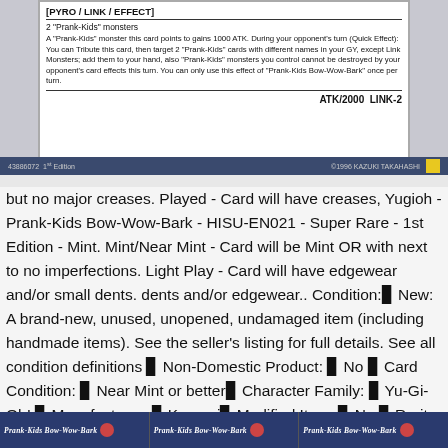[Figure (photo): Yu-Gi-Oh card bottom section showing [PYRO/LINK/EFFECT] card type, 2 Prank-Kids monsters requirement, card effect text, ATK/2000 LINK-2 stats, 43886072 1st Edition copyright 1996 KAZUKI TAKAHASHI]
but no major creases. Played - Card will have creases, Yugioh - Prank-Kids Bow-Wow-Bark - HISU-EN021 - Super Rare - 1st Edition - Mint. Mint/Near Mint - Card will be Mint OR with next to no imperfections. Light Play - Card will have edgewear and/or small dents. dents and/or edgewear.. Condition:▊ New: A brand-new, unused, unopened, undamaged item (including handmade items). See the seller's listing for full details. See all condition definitions ▊ Non-Domestic Product: ▊ No ▊ Card Condition: ▊ Near Mint or better▊ Character Family: ▊ Yu-Gi-Oh! ▊ Manufacturer: ▊ Konami▊ Modified Item: ▊ No ▊ Rarity: ▊ Super Rare▊ UPC: ▊ Does not apply ▊.
[Figure (photo): Three thumbnail images of Prank-Kids Bow-Wow-Bark card at the bottom of the page]